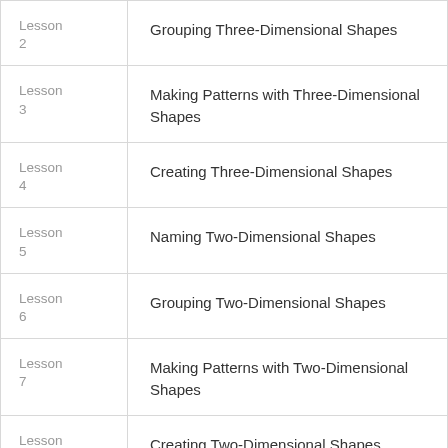| Lesson | Title |
| --- | --- |
| Lesson 2 | Grouping Three-Dimensional Shapes |
| Lesson 3 | Making Patterns with Three-Dimensional Shapes |
| Lesson 4 | Creating Three-Dimensional Shapes |
| Lesson 5 | Naming Two-Dimensional Shapes |
| Lesson 6 | Grouping Two-Dimensional Shapes |
| Lesson 7 | Making Patterns with Two-Dimensional Shapes |
| Lesson 8 | Creating Two-Dimensional Shapes |